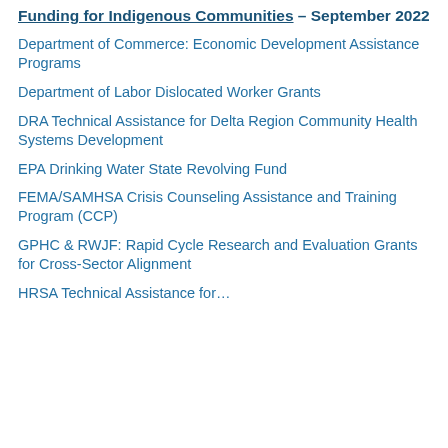Funding for Indigenous Communities – September 2022
Department of Commerce: Economic Development Assistance Programs
Department of Labor Dislocated Worker Grants
DRA Technical Assistance for Delta Region Community Health Systems Development
EPA Drinking Water State Revolving Fund
FEMA/SAMHSA Crisis Counseling Assistance and Training Program (CCP)
GPHC & RWJF: Rapid Cycle Research and Evaluation Grants for Cross-Sector Alignment
HRSA Technical Assistance for…